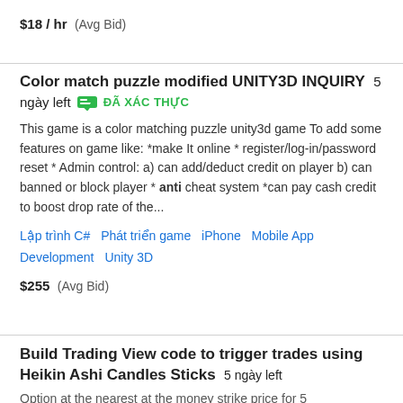$18 / hr  (Avg Bid)
Color match puzzle modified UNITY3D INQUIRY  5 ngày left  ĐÃ XÁC THỰC
This game is a color matching puzzle unity3d game To add some features on game like: *make It online * register/login/password reset * Admin control: a) can add/deduct credit on player b) can banned or block player * anti cheat system *can pay cash credit to boost drop rate of the...
Lập trình C#   Phát triển game   iPhone   Mobile App Development   Unity 3D
$255  (Avg Bid)
Build Trading View code to trigger trades using Heikin Ashi Candles Sticks  5 ngày left
Option at the nearest at the money strike price for 5